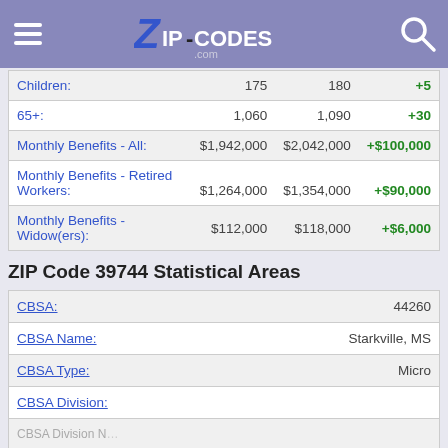ZIP-CODES.com
|  |  |  |  |
| --- | --- | --- | --- |
| Children: | 175 | 180 | +5 |
| 65+: | 1,060 | 1,090 | +30 |
| Monthly Benefits - All: | $1,942,000 | $2,042,000 | +$100,000 |
| Monthly Benefits - Retired Workers: | $1,264,000 | $1,354,000 | +$90,000 |
| Monthly Benefits - Widow(ers): | $112,000 | $118,000 | +$6,000 |
ZIP Code 39744 Statistical Areas
|  |  |
| --- | --- |
| CBSA: | 44260 |
| CBSA Name: | Starkville, MS |
| CBSA Type: | Micro |
| CBSA Division: |  |
| CBSA Division Name: |  |